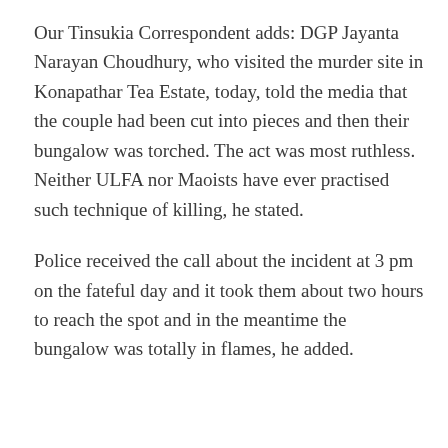Our Tinsukia Correspondent adds: DGP Jayanta Narayan Choudhury, who visited the murder site in Konapathar Tea Estate, today, told the media that the couple had been cut into pieces and then their bungalow was torched. The act was most ruthless. Neither ULFA nor Maoists have ever practised such technique of killing, he stated.
Police received the call about the incident at 3 pm on the fateful day and it took them about two hours to reach the spot and in the meantime the bungalow was totally in flames, he added.